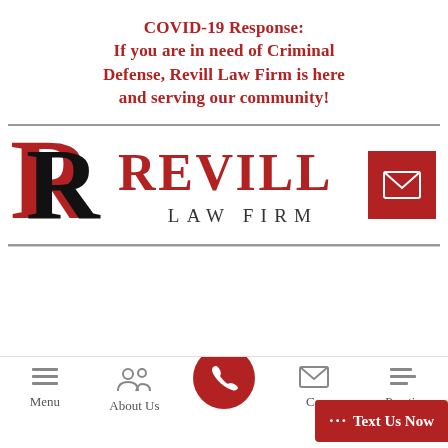COVID-19 Response: If you are in need of Criminal Defense, Revill Law Firm is here and serving our community!
[Figure (logo): Revill Law Firm logo with large decorative R in red and black, 'REVILL' in red serif font, 'LAW FIRM' in dark spaced letters, and a red email icon box on the right.]
[Figure (screenshot): Mobile website navigation bar with Menu, About Us, phone call button (red circle), Contact, and Practice icons, plus a red 'Text Us Now' chat bubble in the bottom right.]